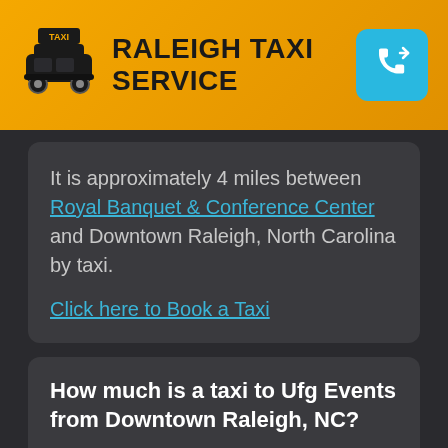RALEIGH TAXI SERVICE
It is approximately 4 miles between Royal Banquet & Conference Center and Downtown Raleigh, North Carolina by taxi.

Click here to Book a Taxi
How much is a taxi to Ufg Events from Downtown Raleigh, NC?
The cost for a taxi to Ufg Events from Downtown Raleigh, NC is approximately $14.47.